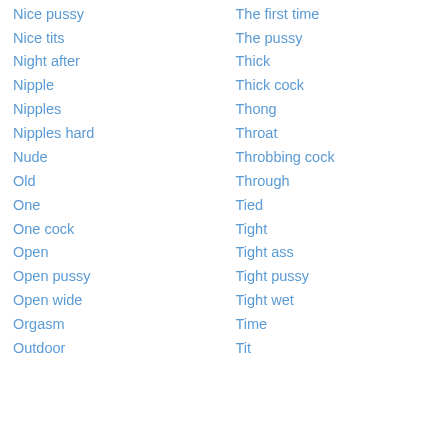Nice pussy
The first time
Nice tits
The pussy
Night after
Thick
Nipple
Thick cock
Nipples
Thong
Nipples hard
Throat
Nude
Throbbing cock
Old
Through
One
Tied
One cock
Tight
Open
Tight ass
Open pussy
Tight pussy
Open wide
Tight wet
Orgasm
Time
Outdoor
Tit